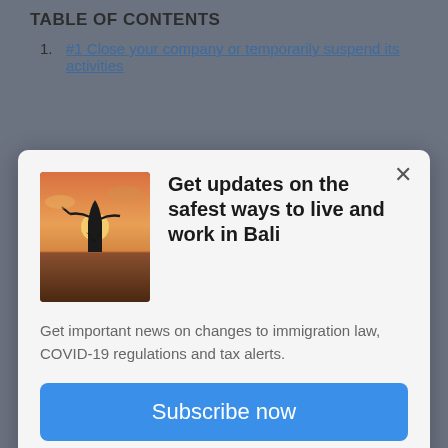TABLE OF CONTENTS
#1 Close your company or temporarily suspend its activities
[Figure (screenshot): Modal popup with a Bali sunset/silhouette image and subscription call to action]
Get updates on the safest ways to live and work in Bali
Get important news on changes to immigration law, COVID-19 regulations and tax alerts.
Subscribe now
As an expat, leaving Bali includes more than buying a flight ticket and notifying your landlord. However, if you plan to ever return (and most likely you will), not wrapping